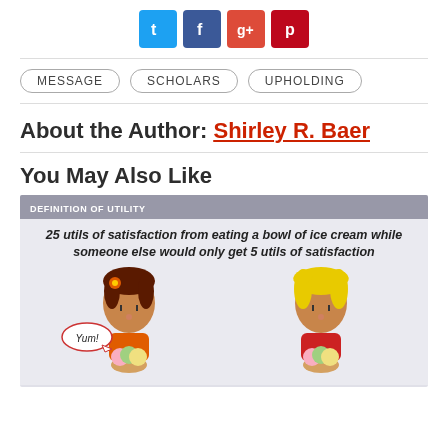[Figure (other): Social sharing icons: Twitter (blue), Facebook (dark blue), Google+ (red), Pinterest (dark red)]
MESSAGE
SCHOLARS
UPHOLDING
About the Author: Shirley R. Baer
You May Also Like
[Figure (illustration): Definition of Utility illustration showing two cartoon girls with ice cream bowls. Caption reads: '25 utils of satisfaction from eating a bowl of ice cream while someone else would only get 5 utils of satisfaction'. Left girl has speech bubble saying 'Yum!']